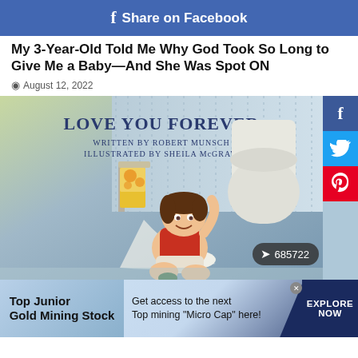f Share on Facebook
My 3-Year-Old Told Me Why God Took So Long to Give Me a Baby—And She Was Spot ON
August 12, 2022
[Figure (photo): Book cover of 'Love You Forever' written by Robert Munsch, illustrated by Sheila McGraw. Shows a toddler sitting on a bathroom floor near a toilet, unrolling toilet paper, smiling. Share count badge shows 685722.]
Top Junior Gold Mining Stock   Get access to the next Top mining "Micro Cap" here!   EXPLORE NOW